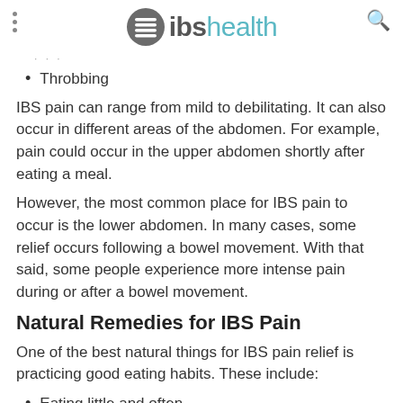ibshealth
Throbbing
IBS pain can range from mild to debilitating. It can also occur in different areas of the abdomen. For example, pain could occur in the upper abdomen shortly after eating a meal.
However, the most common place for IBS pain to occur is the lower abdomen. In many cases, some relief occurs following a bowel movement. With that said, some people experience more intense pain during or after a bowel movement.
Natural Remedies for IBS Pain
One of the best natural things for IBS pain relief is practicing good eating habits. These include:
Eating little and often